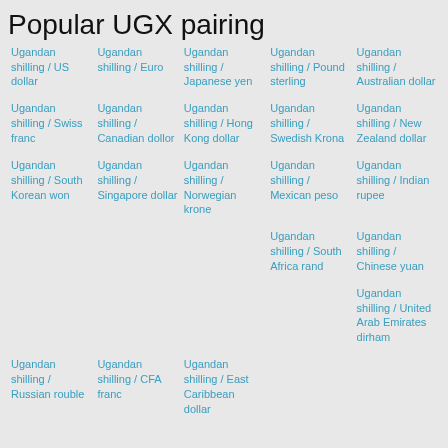Popular UGX pairing
Ugandan shilling / US dollar
Ugandan shilling / Euro
Ugandan shilling / Japanese yen
Ugandan shilling / Pound sterling
Ugandan shilling / Australian dollar
Ugandan shilling / Swiss franc
Ugandan shilling / Canadian dollor
Ugandan shilling / Hong Kong dollar
Ugandan shilling / Swedish Krona
Ugandan shilling / New Zealand dollar
Ugandan shilling / South Korean won
Ugandan shilling / Singapore dollar
Ugandan shilling / Norwegian krone
Ugandan shilling / Mexican peso
Ugandan shilling / Indian rupee
Ugandan shilling / South Africa rand
Ugandan shilling / Chinese yuan
Ugandan shilling / United Arab Emirates dirham
Ugandan shilling / Russian rouble
Ugandan shilling / CFA franc
Ugandan shilling / East Caribbean dollar